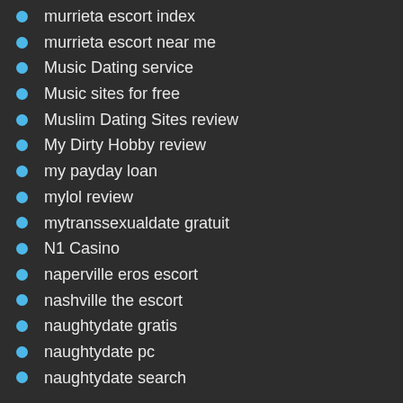murrieta escort index
murrieta escort near me
Music Dating service
Music sites for free
Muslim Dating Sites review
My Dirty Hobby review
my payday loan
mylol review
mytranssexualdate gratuit
N1 Casino
naperville eros escort
nashville the escort
naughtydate gratis
naughtydate pc
naughtydate search